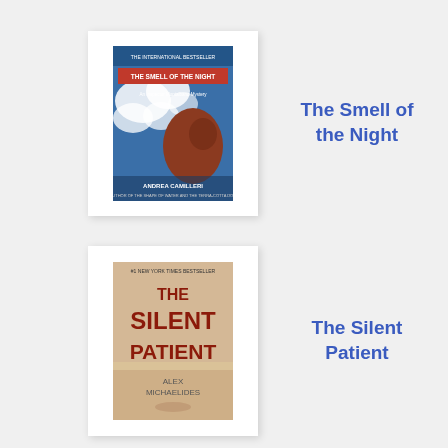[Figure (illustration): Book cover of 'The Smell of the Night' by Andrea Camilleri — blue cover with abstract shapes and a reddish-brown form]
The Smell of the Night
[Figure (illustration): Book cover of 'The Silent Patient' by Alex Michaelides — close-up of a woman's face with red bold title text]
The Silent Patient